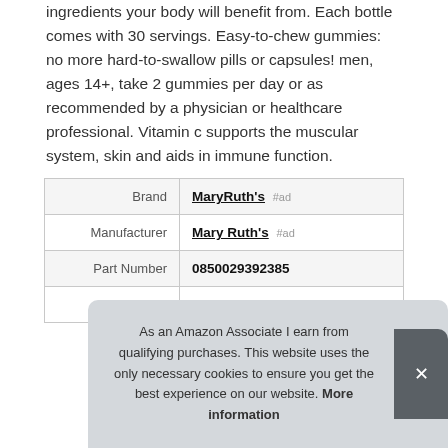ingredients your body will benefit from. Each bottle comes with 30 servings. Easy-to-chew gummies: no more hard-to-swallow pills or capsules! men, ages 14+, take 2 gummies per day or as recommended by a physician or healthcare professional. Vitamin c supports the muscular system, skin and aids in immune function.
| Brand | MaryRuth's #ad |
| Manufacturer | Mary Ruth's #ad |
| Part Number | 0850029392385 |
| Model | 0850029392385 |
As an Amazon Associate I earn from qualifying purchases. This website uses the only necessary cookies to ensure you get the best experience on our website. More information